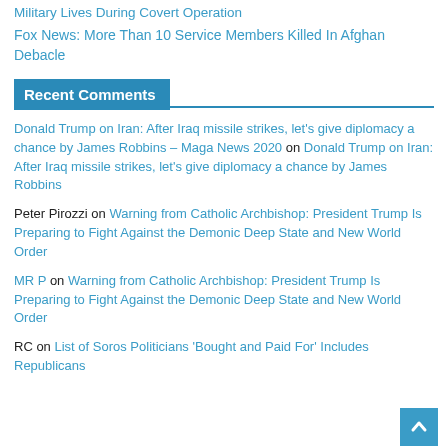Military Lives During Covert Operation
Fox News: More Than 10 Service Members Killed In Afghan Debacle
Recent Comments
Donald Trump on Iran: After Iraq missile strikes, let’s give diplomacy a chance by James Robbins – Maga News 2020 on Donald Trump on Iran: After Iraq missile strikes, let’s give diplomacy a chance by James Robbins
Peter Pirozzi on Warning from Catholic Archbishop: President Trump Is Preparing to Fight Against the Demonic Deep State and New World Order
MR P on Warning from Catholic Archbishop: President Trump Is Preparing to Fight Against the Demonic Deep State and New World Order
RC on List of Soros Politicians ‘Bought and Paid For’ Includes Republicans